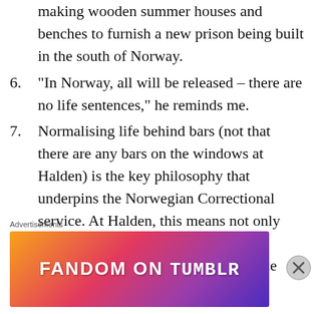making wooden summer houses and benches to furnish a new prison being built in the south of Norway.
6. “In Norway, all will be released – there are no life sentences,” he reminds me.
7. Normalising life behind bars (not that there are any bars on the windows at Halden) is the key philosophy that underpins the Norwegian Correctional service. At Halden, this means not only providing daily routines but ensuring family contact is maintained too. Once every three months, inmates with
Advertisements
[Figure (other): Fandom on Tumblr advertisement banner with colorful gradient background]